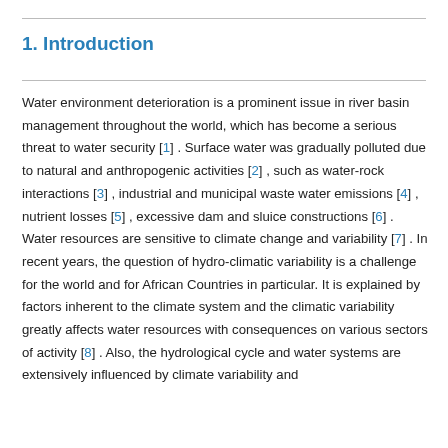1. Introduction
Water environment deterioration is a prominent issue in river basin management throughout the world, which has become a serious threat to water security [1] . Surface water was gradually polluted due to natural and anthropogenic activities [2] , such as water-rock interactions [3] , industrial and municipal waste water emissions [4] , nutrient losses [5] , excessive dam and sluice constructions [6] . Water resources are sensitive to climate change and variability [7] . In recent years, the question of hydro-climatic variability is a challenge for the world and for African Countries in particular. It is explained by factors inherent to the climate system and the climatic variability greatly affects water resources with consequences on various sectors of activity [8] . Also, the hydrological cycle and water systems are extensively influenced by climate variability and